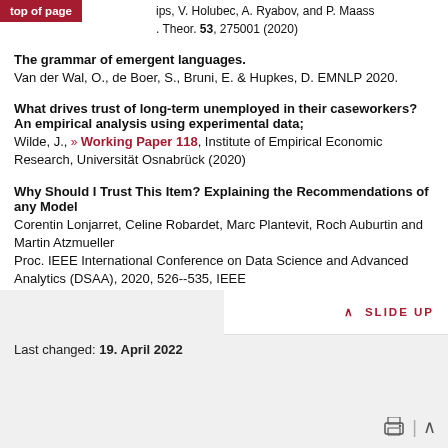top of page
ips, V. Holubec, A. Ryabov, and P. Maass
. Theor. 53, 275001 (2020)
The grammar of emergent languages.
Van der Wal, O., de Boer, S., Bruni, E. & Hupkes, D. EMNLP 2020.
What drives trust of long-term unemployed in their caseworkers? An empirical analysis using experimental data;
Wilde, J., Working Paper 118, Institute of Empirical Economic Research, Universität Osnabrück (2020)
Why Should I Trust This Item? Explaining the Recommendations of any Model
Corentin Lonjarret, Celine Robardet, Marc Plantevit, Roch Auburtin and Martin Atzmueller
Proc. IEEE International Conference on Data Science and Advanced Analytics (DSAA), 2020, 526--535, IEEE
Last changed: 19. April 2022